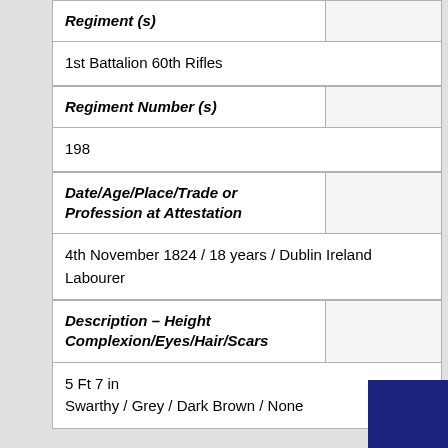| Regiment (s) |  |
| --- | --- |
| 1st Battalion 60th Rifles |  |
| Regiment Number (s) |  |
| 198 |  |
| Date/Age/Place/Trade or Profession at Attestation |  |
| 4th November 1824 / 18 years / Dublin Ireland
Labourer |  |
| Description – Height
Complexion/Eyes/Hair/Scars |  |
| 5 Ft 7 in
Swarthy / Grey / Dark Brown / None |  |